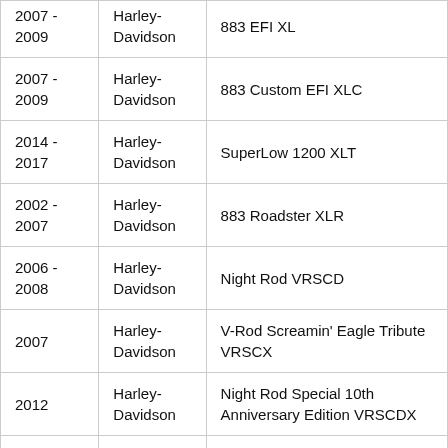| Year | Make | Model |
| --- | --- | --- |
| 2007 - 2009 | Harley-Davidson | 883 EFI XL |
| 2007 - 2009 | Harley-Davidson | 883 Custom EFI XLC |
| 2014 - 2017 | Harley-Davidson | SuperLow 1200 XLT |
| 2002 - 2007 | Harley-Davidson | 883 Roadster XLR |
| 2006 - 2008 | Harley-Davidson | Night Rod VRSCD |
| 2007 | Harley-Davidson | V-Rod Screamin' Eagle Tribute VRSCX |
| 2012 | Harley-Davidson | Night Rod Special 10th Anniversary Edition VRSCDX |